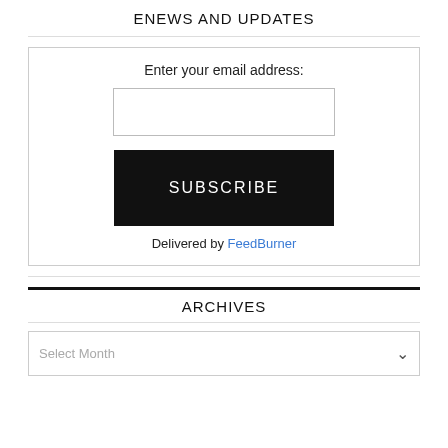ENEWS AND UPDATES
Enter your email address:
SUBSCRIBE
Delivered by FeedBurner
ARCHIVES
Select Month